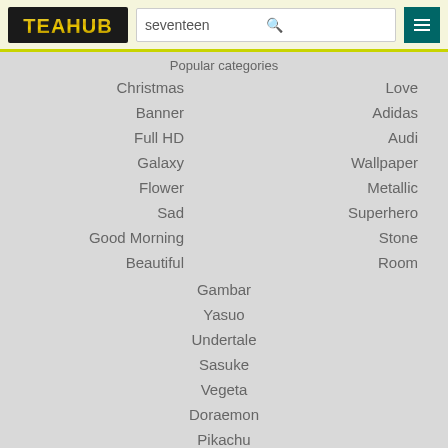[Figure (logo): TEAHUB logo with gold metallic text on dark background]
seventeen
Popular categories
Christmas
Love
Banner
Adidas
Full HD
Audi
Galaxy
Wallpaper
Flower
Metallic
Sad
Superhero
Good Morning
Stone
Beautiful
Room
Gambar
Yasuo
Undertale
Sasuke
Vegeta
Doraemon
Pikachu
Deadpool